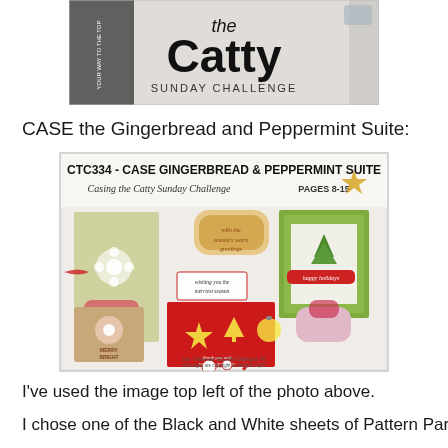[Figure (photo): Top banner crop showing 'the Catty Sunday Challenge' logo with text '...your way to the top']
CASE the Gingerbread and Peppermint Suite:
[Figure (photo): CTC334 - CASE Gingerbread & Peppermint Suite challenge image showing various holiday cards and gift boxes made with gingerbread and peppermint themed stamps, pages 8-15]
I've used the image top left of the photo above.
I chose one of the Black and White sheets of Pattern Party